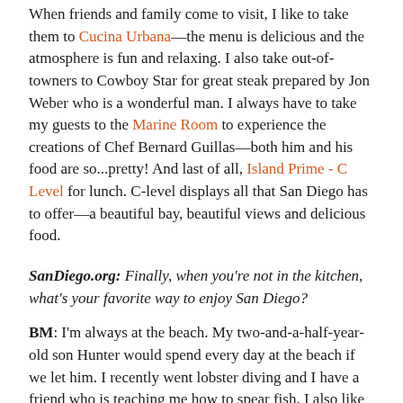When friends and family come to visit, I like to take them to Cucina Urbana—the menu is delicious and the atmosphere is fun and relaxing. I also take out-of-towners to Cowboy Star for great steak prepared by Jon Weber who is a wonderful man. I always have to take my guests to the Marine Room to experience the creations of Chef Bernard Guillas—both him and his food are so...pretty! And last of all, Island Prime - C Level for lunch. C-level displays all that San Diego has to offer—a beautiful bay, beautiful views and delicious food.
SanDiego.org: Finally, when you're not in the kitchen, what's your favorite way to enjoy San Diego?
BM: I'm always at the beach. My two-and-a-half-year-old son Hunter would spend every day at the beach if we let him. I recently went lobster diving and I have a friend who is teaching me how to spear fish. I also like to help out my good friend Izzy Paskowitz with Autism Family Surf Camps in July. And of course, you'll find me (clad in a